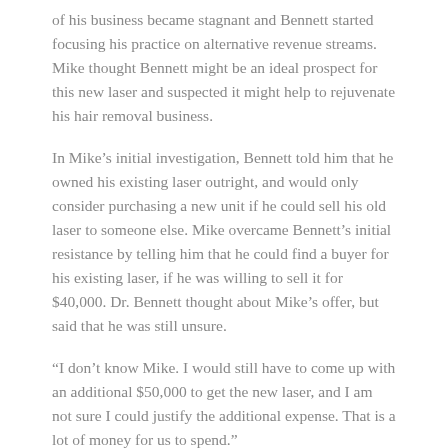of his business became stagnant and Bennett started focusing his practice on alternative revenue streams. Mike thought Bennett might be an ideal prospect for this new laser and suspected it might help to rejuvenate his hair removal business.
In Mike's initial investigation, Bennett told him that he owned his existing laser outright, and would only consider purchasing a new unit if he could sell his old laser to someone else. Mike overcame Bennett's initial resistance by telling him that he could find a buyer for his existing laser, if he was willing to sell it for $40,000. Dr. Bennett thought about Mike's offer, but said that he was still unsure.
“I don’t know Mike. I would still have to come up with an additional $50,000 to get the new laser, and I am not sure I could justify the additional expense. That is a lot of money for us to spend.”